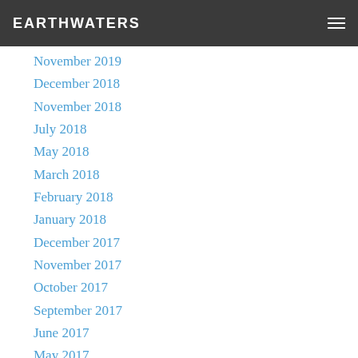EARTHWATERS
November 2019
December 2018
November 2018
July 2018
May 2018
March 2018
February 2018
January 2018
December 2017
November 2017
October 2017
September 2017
June 2017
May 2017
April 2017
March 2017
February 2017